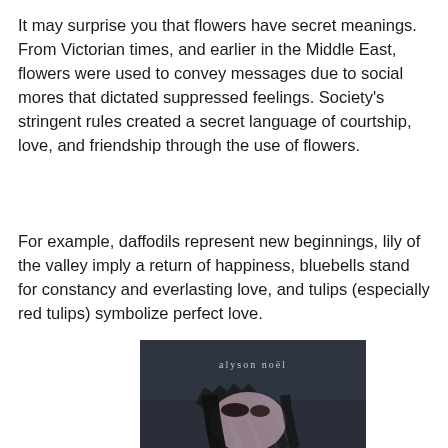It may surprise you that flowers have secret meanings. From Victorian times, and earlier in the Middle East, flowers were used to convey messages due to social mores that dictated suppressed feelings. Society's stringent rules created a secret language of courtship, love, and friendship through the use of flowers.
For example, daffodils represent new beginnings, lily of the valley imply a return of happiness, bluebells stand for constancy and everlasting love, and tulips (especially red tulips) symbolize perfect love.
[Figure (illustration): Book cover image with dark background showing a person with dark hair, with the text 'alyson noël' in small letters near the top.]